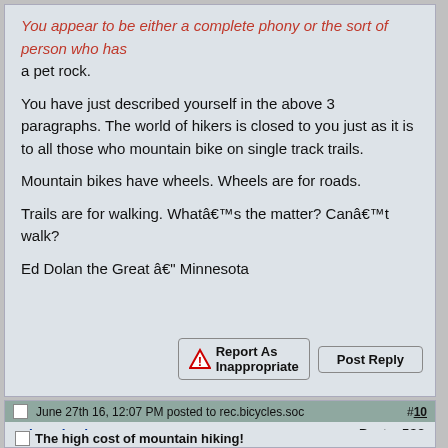You appear to be either a complete phony or the sort of person who has a pet rock.
You have just described yourself in the above 3 paragraphs. The world of hikers is closed to you just as it is to all those who mountain bike on single track trails.
Mountain bikes have wheels. Wheels are for roads.
Trails are for walking. Whatâ€™s the matter? Canâ€™t walk?
Ed Dolan the Great â€" Minnesota
June 27th 16, 12:07 PM posted to rec.bicycles.soc  #10
EdwardDolan  Posts: 538  external usenet poster
The high cost of mountain hiking!